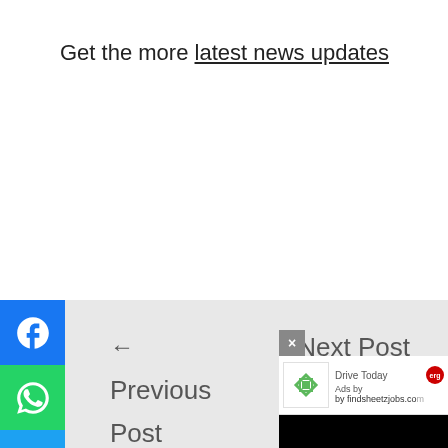Get the more latest news updates
[Figure (infographic): Social media share buttons: Facebook (blue), WhatsApp (green), Twitter (blue), Pinterest (red), arranged vertically on the left side]
← Previous Post
Next Post →
[Figure (screenshot): Ad overlay showing 'Drive Today' by findsheetzjobs.com with close button, brand logo, and black content area below]